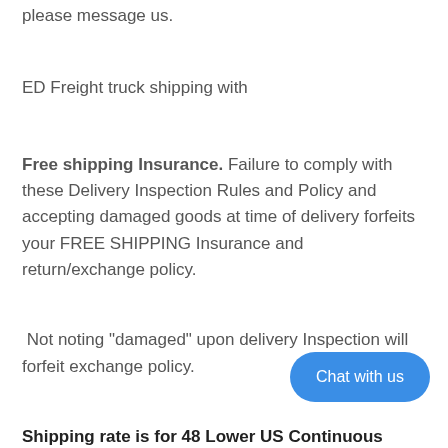please message us.
ED Freight truck shipping with
Free shipping Insurance. Failure to comply with these Delivery Inspection Rules and Policy and accepting damaged goods at time of delivery forfeits your FREE SHIPPING Insurance and return/exchange policy.
Not noting "damaged" upon delivery Inspection will forfeit exchange policy.
Shipping rate is for 48 Lower US Continuous States. Additional cost for other Locations.